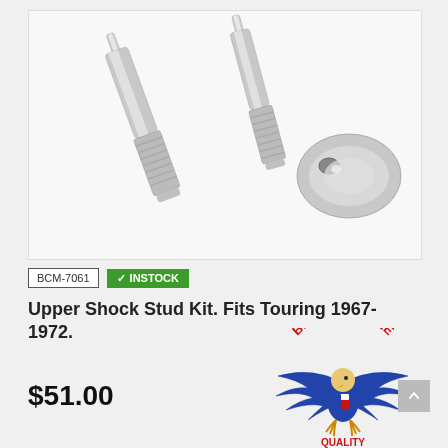[Figure (photo): Two chrome shock stud bolts with threaded ends and pins at top, plus a chrome teardrop-shaped mounting bracket/loop, shown on white background.]
BCM-7061
✓ INSTOCK
Upper Shock Stud Kit. Fits Touring 1967-1972.
$51.00
[Figure (logo): Bender Cycle logo: eagle with spread wings, text 'BENDER CYCLE' in red arc at top, 'QUALITY' at bottom in red, blue eagle in center.]